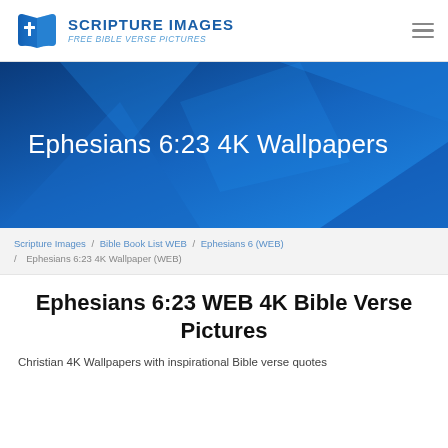[Figure (logo): Scripture Images logo: blue open book with white cross, beside bold blue text 'SCRIPTURE IMAGES' and italic subtitle 'Free Bible Verse Pictures']
[Figure (illustration): Blue gradient geometric hero banner background with abstract blue shapes]
Ephesians 6:23 4K Wallpapers
Scripture Images / Bible Book List WEB / Ephesians 6 (WEB) / Ephesians 6:23 4K Wallpaper (WEB)
Ephesians 6:23 WEB 4K Bible Verse Pictures
Christian 4K Wallpapers with inspirational Bible verse quotes